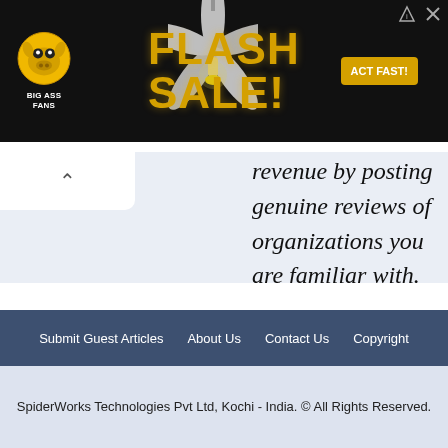[Figure (illustration): Big Ass Fans advertisement banner: dark background with yellow 'FLASH SALE!' text, ceiling fan image, company logo with mascot on left, 'ACT FAST!' button on right]
revenue by posting genuine reviews of organizations you are familiar with.
Submit Guest Articles   About Us   Contact Us   Copyright
SpiderWorks Technologies Pvt Ltd, Kochi - India. © All Rights Reserved.